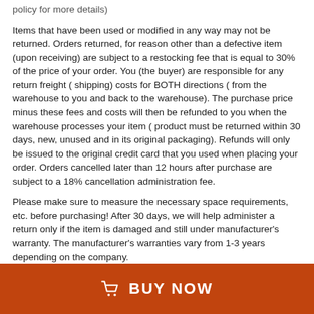policy for more details)
Items that have been used or modified in any way may not be returned. Orders returned, for reason other than a defective item (upon receiving) are subject to a restocking fee that is equal to 30% of the price of your order. You (the buyer) are responsible for any return freight ( shipping) costs for BOTH directions ( from the warehouse to you and back to the warehouse). The purchase price minus these fees and costs will then be refunded to you when the warehouse processes your item ( product must be returned within 30 days, new, unused and in its original packaging). Refunds will only be issued to the original credit card that you used when placing your order. Orders cancelled later than 12 hours after purchase are subject to a 18% cancellation administration fee.
Please make sure to measure the necessary space requirements, etc. before purchasing! After 30 days, we will help administer a return only if the item is damaged and still under manufacturer's warranty. The manufacturer's warranties vary from 1-3 years depending on the company.
[Figure (other): Red BUY NOW button with shopping cart icon]